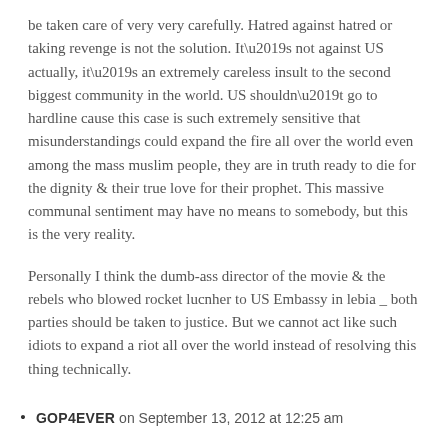be taken care of very very carefully. Hatred against hatred or taking revenge is not the solution. It’s not against US actually, it’s an extremely careless insult to the second biggest community in the world. US shouldn’t go to hardline cause this case is such extremely sensitive that misunderstandings could expand the fire all over the world even among the mass muslim people, they are in truth ready to die for the dignity & their true love for their prophet. This massive communal sentiment may have no means to somebody, but this is the very reality.
Personally I think the dumb-ass director of the movie & the rebels who blowed rocket lucnher to US Embassy in lebia _ both parties should be taken to justice. But we cannot act like such idiots to expand a riot all over the world instead of resolving this thing technically.
GOP4EVER on September 13, 2012 at 12:25 am